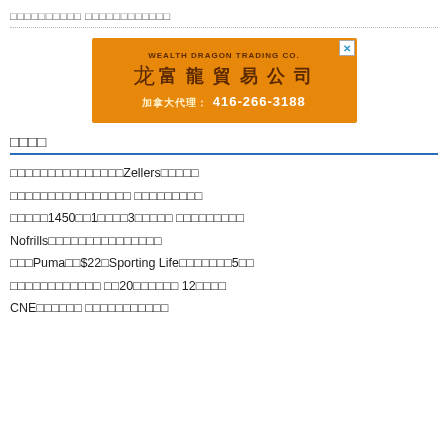□□□□□□□□□□ □□□□□□□□□□□□
[Figure (illustration): Orange advertisement banner for Wealth Dragon Trading Co. with Chinese text 富龍貿易公司 and phone number 加拿大代理：416-266-3188]
□□□□
□□□□□□□□□□□□□□□Zellers□□□□□
□□□□□□□□□□□□□□□□ □□□□□□□□□
□□□□□1450□□1□□□□3□□□□□ □□□□□□□□□
Nofrills□□□□□□□□□□□□□□□
□□□Puma□□$22□Sporting Life□□□□□□□5□□
□□□□□□□□□□□□ □□20□□□□□□ 12□□□□
CNE□□□□□□ □□□□□□□□□□□